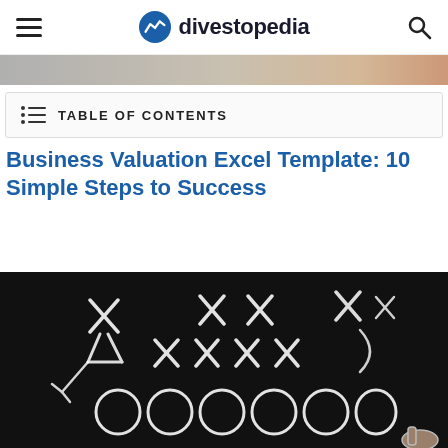divestopedia
[Figure (photo): Partial image strip at top of page, showing blurred background photo]
TABLE OF CONTENTS
Business Valuation Excel Template: 10 Simple Steps to Success
[Figure (photo): Chalkboard with X's and O's play diagram drawn in white chalk, with a hand holding chalk visible at bottom right]